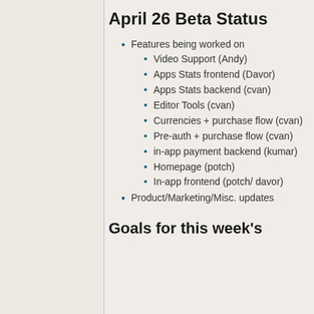April 26 Beta Status
Features being worked on
Video Support (Andy)
Apps Stats frontend (Davor)
Apps Stats backend (cvan)
Editor Tools (cvan)
Currencies + purchase flow (cvan)
Pre-auth + purchase flow (cvan)
in-app payment backend (kumar)
Homepage (potch)
In-app frontend (potch/ davor)
Product/Marketing/Misc. updates
Goals for this week's